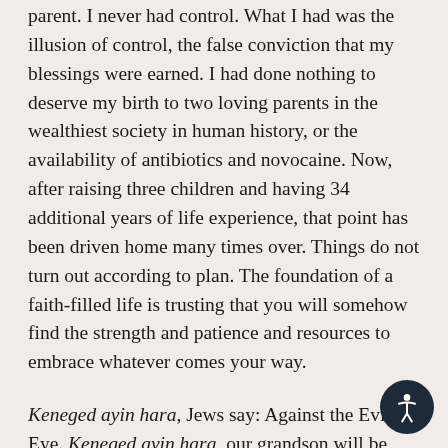parent. I never had control. What I had was the illusion of control, the false conviction that my blessings were earned. I had done nothing to deserve my birth to two loving parents in the wealthiest society in human history, or the availability of antibiotics and novocaine. Now, after raising three children and having 34 additional years of life experience, that point has been driven home many times over. Things do not turn out according to plan. The foundation of a faith-filled life is trusting that you will somehow find the strength and patience and resources to embrace whatever comes your way.
Keneged ayin hara, Jews say: Against the Evil Eye. Keneged ayin hara, our grandson will be born healthy, and his parents will be blessed with the means and the wisdom to nurture him lovingly as he grows. That's what I pray for, but to be honest, what I